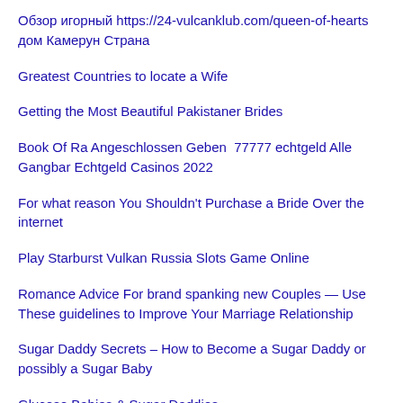Обзор игорный https://24-vulcanklub.com/queen-of-hearts дом Камерун Страна
Greatest Countries to locate a Wife
Getting the Most Beautiful Pakistaner Brides
Book Of Ra Angeschlossen Geben  77777 echtgeld Alle Gangbar Echtgeld Casinos 2022
For what reason You Shouldn't Purchase a Bride Over the internet
Play Starburst Vulkan Russia Slots Game Online
Romance Advice For brand spanking new Couples — Use These guidelines to Improve Your Marriage Relationship
Sugar Daddy Secrets – How to Become a Sugar Daddy or possibly a Sugar Baby
Glucose Babies & Sugar Daddies